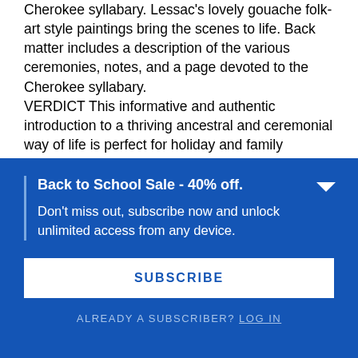Cherokee syllabary. Lessac's lovely gouache folk-art style paintings bring the scenes to life. Back matter includes a description of the various ceremonies, notes, and a page devoted to the Cherokee syllabary.
VERDICT This informative and authentic introduction to a thriving ancestral and ceremonial way of life is perfect for holiday and family sharing.
Reviewed by Luann Toth, School Library Journal
Back to School Sale - 40% off.
Don't miss out, subscribe now and unlock unlimited access from any device.
SUBSCRIBE
ALREADY A SUBSCRIBER? LOG IN